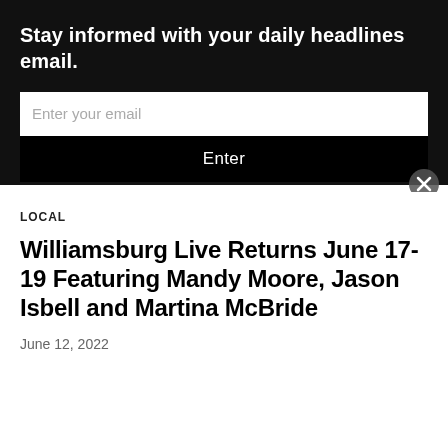Stay informed with your daily headlines email.
Enter your email
Enter
LOCAL
Williamsburg Live Returns June 17-19 Featuring Mandy Moore, Jason Isbell and Martina McBride
June 12, 2022